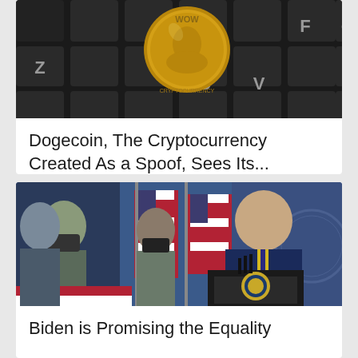[Figure (photo): A gold coin with 'WOW' inscription resting on a dark laptop keyboard showing keys Z, C, V, F, G and others]
Dogecoin, The Cryptocurrency Created As a Spoof, Sees Its...
[Figure (photo): President Biden speaking at a podium with the Presidential seal, with Kamala Harris and another masked woman standing behind him, American flags in the background, in a blue-toned room]
Biden is Promising the Equality